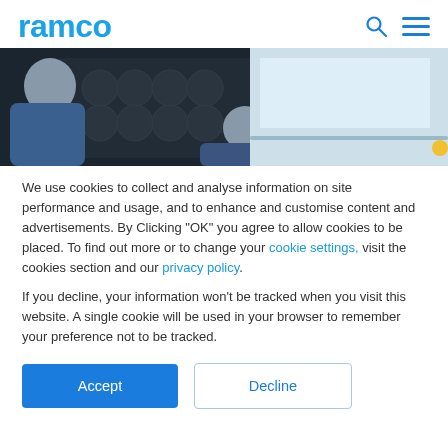ramco
[Figure (photo): Two mechanics or technicians leaning over to work under the hood of a car, wearing blue work uniforms. The right side of the image shows a bright workshop background.]
We use cookies to collect and analyse information on site performance and usage, and to enhance and customise content and advertisements. By Clicking "OK" you agree to allow cookies to be placed. To find out more or to change your cookie settings, visit the cookies section and our privacy policy.
If you decline, your information won’t be tracked when you visit this website. A single cookie will be used in your browser to remember your preference not to be tracked.
Accept   Decline